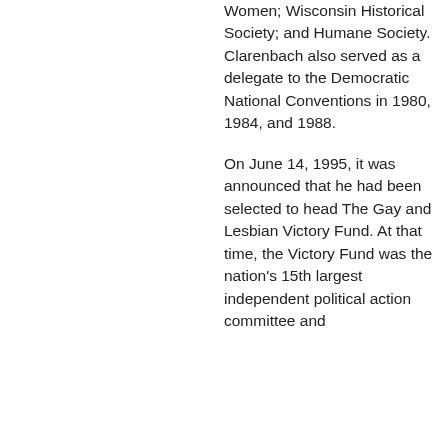Women; Wisconsin Historical Society; and Humane Society. Clarenbach also served as a delegate to the Democratic National Conventions in 1980, 1984, and 1988.
On June 14, 1995, it was announced that he had been selected to head The Gay and Lesbian Victory Fund. At that time, the Victory Fund was the nation's 15th largest independent political action committee and